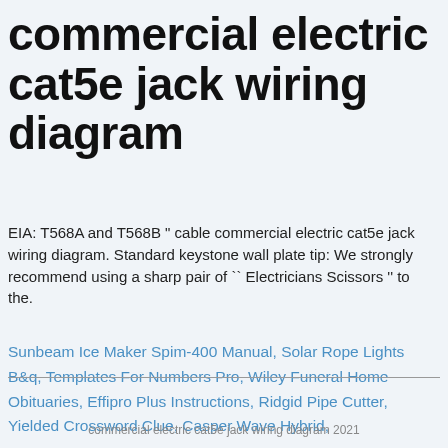commercial electric cat5e jack wiring diagram
EIA: T568A and T568B " cable commercial electric cat5e jack wiring diagram. Standard keystone wall plate tip: We strongly recommend using a sharp pair of `` Electricians Scissors '' to the.
Sunbeam Ice Maker Spim-400 Manual, Solar Rope Lights B&q, Templates For Numbers Pro, Wiley Funeral Home Obituaries, Effipro Plus Instructions, Ridgid Pipe Cutter, Yielded Crossword Clue, Casper Wave Hybrid,
commercial electric cat5e jack wiring diagram 2021